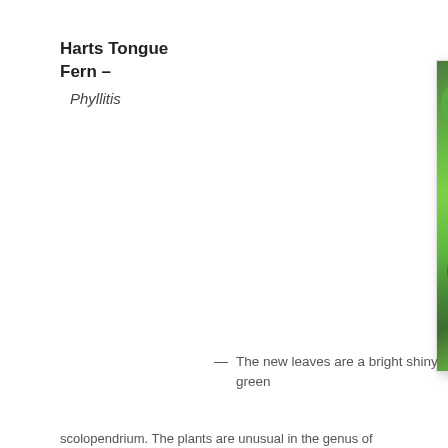Harts Tongue Fern – Phyllitis
[Figure (photo): Close-up photograph of a Hart's Tongue Fern (Phyllitis) showing a bright shiny green new frond unfurling among other green leaves and vegetation.]
— The new leaves are a bright shiny green
scolopendrium. The plants are unusual in the genus of